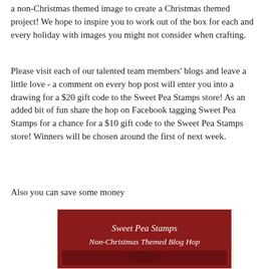a non-Christmas themed image to create a Christmas themed project! We hope to inspire you to work out of the box for each and every holiday with images you might not consider when crafting.
Please visit each of our talented team members' blogs and leave a little love - a comment on every hop post will enter you into a drawing for a $20 gift code to the Sweet Pea Stamps store! As an added bit of fun share the hop on Facebook tagging Sweet Pea Stamps for a chance for a $10 gift code to the Sweet Pea Stamps store! Winners will be chosen around the first of next week.
Also you can save some money
[Figure (illustration): Sweet Pea Stamps Non-Christmas Themed Blog Hop promotional image with dark red background and fairy illustration]